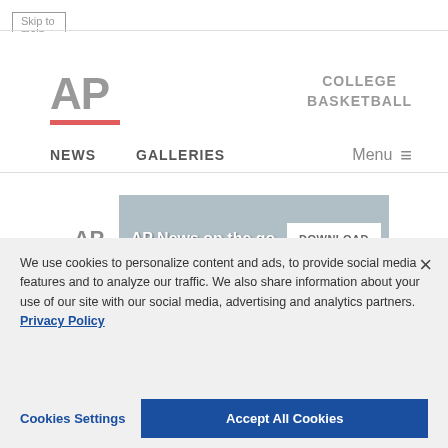Skip to main content
[Figure (logo): AP logo in grey with red underline bar, and 'COLLEGE BASKETBALL' text to the right]
NEWS   GALLERIES   Menu ≡
[Figure (screenshot): AP News app advertisement banner: AP logo, 'AP News on the go' text, DOWNLOAD button]
We use cookies to personalize content and ads, to provide social media features and to analyze our traffic. We also share information about your use of our site with our social media, advertising and analytics partners. Privacy Policy
Cookies Settings   Accept All Cookies